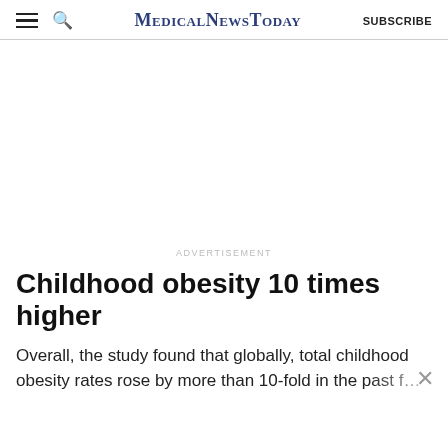MedicalNewsToday SUBSCRIBE
[Figure (other): Advertisement blank white space area]
Childhood obesity 10 times higher
Overall, the study found that globally, total childhood obesity rates rose by more than 10-fold in the past f…